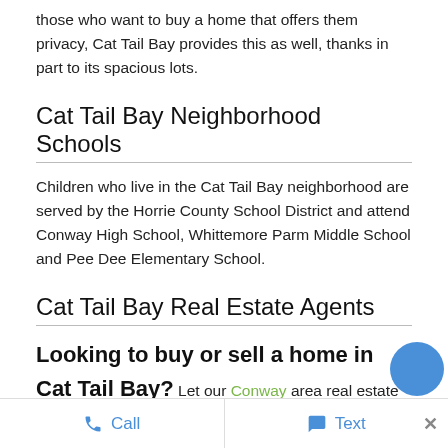those who want to buy a home that offers them privacy, Cat Tail Bay provides this as well, thanks in part to its spacious lots.
Cat Tail Bay Neighborhood Schools
Children who live in the Cat Tail Bay neighborhood are served by the Horrie County School District and attend Conway High School, Whittemore Parm Middle School and Pee Dee Elementary School.
Cat Tail Bay Real Estate Agents
Looking to buy or sell a home in Cat Tail Bay? Let our Conway area real estate agents help you buy your next home or expertly negotiate the sale of your current home. As local Conway real estate agents, we're experts on the inner workings of the Cat Tail Bay real estate market
Call   Text